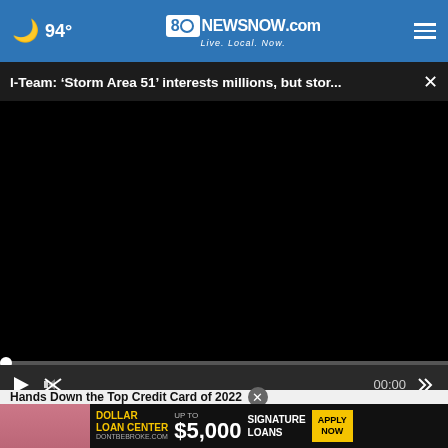94° 8NewsNow.com Live. Local. Now.
I-Team: ‘Storm Area 51’ interests millions, but stor... ×
[Figure (screenshot): Black video player area showing a paused/unloaded video with progress bar at 00:00, play button, mute button, and fullscreen icon]
Hands Down the Top Credit Card of 2022
[Figure (infographic): Dollar Loan Center advertisement banner: DOLLAR LOAN CENTER dontbebroke.com, UP TO $5,000 SIGNATURE LOANS, APPLY NOW button in yellow]